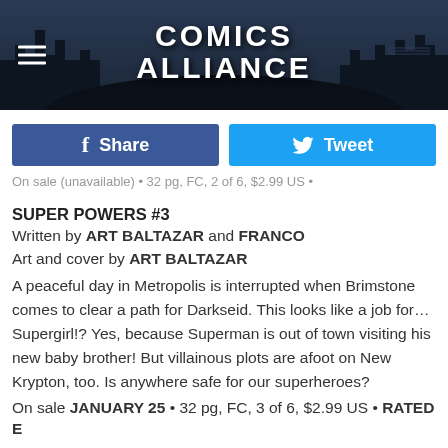COMICS ALLIANCE
Share   Tweet
On sale (truncated line)
SUPER POWERS #3
Written by ART BALTAZAR and FRANCO
Art and cover by ART BALTAZAR
A peaceful day in Metropolis is interrupted when Brimstone comes to clear a path for Darkseid. This looks like a job for… Supergirl!? Yes, because Superman is out of town visiting his new baby brother! But villainous plots are afoot on New Krypton, too. Is anywhere safe for our superheroes?
On sale JANUARY 25 • 32 pg, FC, 3 of 6, $2.99 US • RATED E
SCOOBY-DOO, WHERE ARE YOU? #77
Written by IVAN COHEN